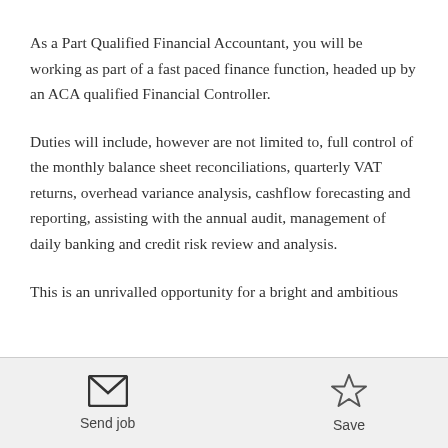As a Part Qualified Financial Accountant, you will be working as part of a fast paced finance function, headed up by an ACA qualified Financial Controller.
Duties will include, however are not limited to, full control of the monthly balance sheet reconciliations, quarterly VAT returns, overhead variance analysis, cashflow forecasting and reporting, assisting with the annual audit, management of daily banking and credit risk review and analysis.
This is an unrivalled opportunity for a bright and ambitious
Send job   Save